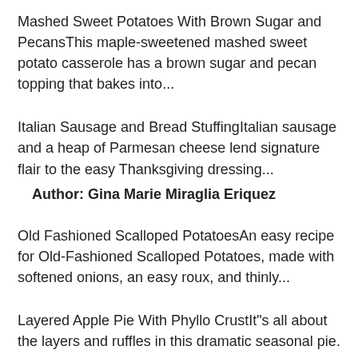Mashed Sweet Potatoes With Brown Sugar and PecansThis maple-sweetened mashed sweet potato casserole has a brown sugar and pecan topping that bakes into...
Italian Sausage and Bread StuffingItalian sausage and a heap of Parmesan cheese lend signature flair to the easy Thanksgiving dressing...
Author: Gina Marie Miraglia Eriquez
Old Fashioned Scalloped PotatoesAn easy recipe for Old-Fashioned Scalloped Potatoes, made with softened onions, an easy roux, and thinly...
Layered Apple Pie With Phyllo CrustIt"s all about the layers and ruffles in this dramatic seasonal pie.